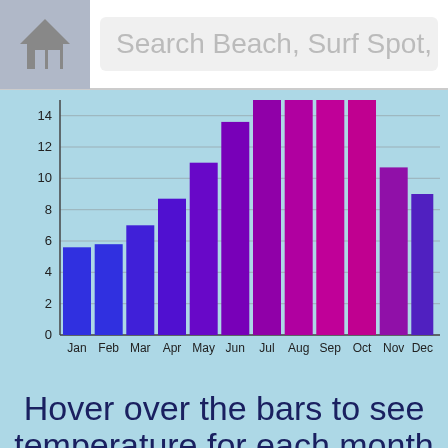Search Beach, Surf Spot,
[Figure (bar-chart): Monthly surf/temperature data]
Hover over the bars to see temperature for each month